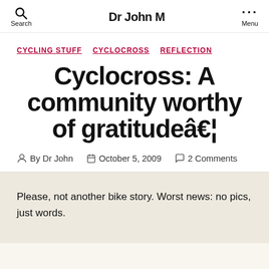Dr John M
CYCLING STUFF  CYCLOCROSS  REFLECTION
Cyclocross: A community worthy of gratitudeâ€¦
By Dr John   October 5, 2009   2 Comments
Please, not another bike story. Worst news: no pics, just words.